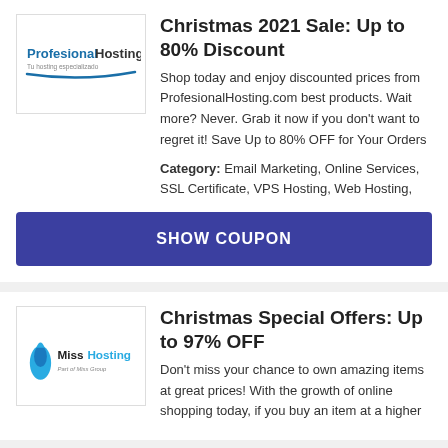[Figure (logo): ProfesionalHosting logo — blue text with tagline 'Tu hosting especializado' and a blue swoosh underline]
Christmas 2021 Sale: Up to 80% Discount
Shop today and enjoy discounted prices from ProfesionalHosting.com best products. Wait more? Never. Grab it now if you don't want to regret it! Save Up to 80% OFF for Your Orders
Category: Email Marketing, Online Services, SSL Certificate, VPS Hosting, Web Hosting,
SHOW COUPON
[Figure (logo): Miss Hosting logo — blue candle flame icon with 'Miss Hosting' text and subtitle 'Part of Miss Group']
Christmas Special Offers: Up to 97% OFF
Don't miss your chance to own amazing items at great prices! With the growth of online shopping today, if you buy an item at a higher